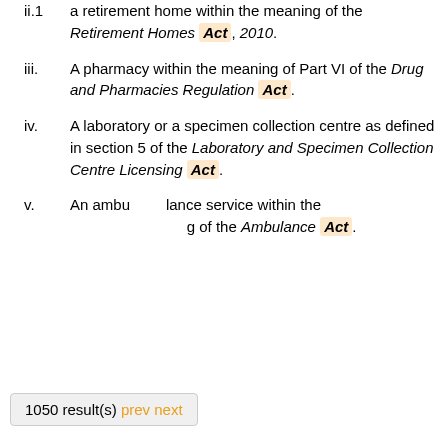ii.1 a retirement home within the meaning of the Retirement Homes Act, 2010.
iii. A pharmacy within the meaning of Part VI of the Drug and Pharmacies Regulation Act.
iv. A laboratory or a specimen collection centre as defined in section 5 of the Laboratory and Specimen Collection Centre Licensing Act.
v. An ambulance service within the meaning of the Ambulance Act.